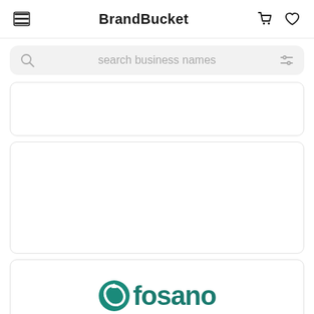BrandBucket
[Figure (screenshot): Search bar with placeholder text 'search business names' and filter icon]
[Figure (screenshot): Empty white card placeholder]
[Figure (screenshot): Empty white card placeholder (large)]
[Figure (logo): Fosano brand logo with teal circular icon and teal text 'fosano']